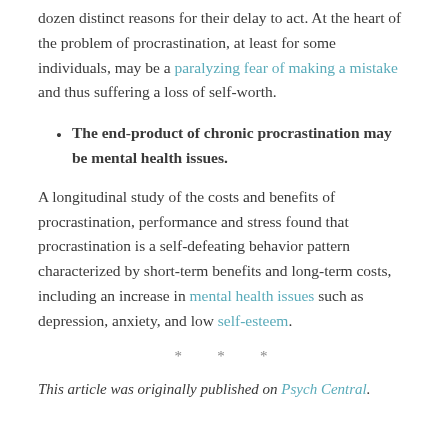dozen distinct reasons for their delay to act. At the heart of the problem of procrastination, at least for some individuals, may be a paralyzing fear of making a mistake and thus suffering a loss of self-worth.
The end-product of chronic procrastination may be mental health issues.
A longitudinal study of the costs and benefits of procrastination, performance and stress found that procrastination is a self-defeating behavior pattern characterized by short-term benefits and long-term costs, including an increase in mental health issues such as depression, anxiety, and low self-esteem.
* * *
This article was originally published on Psych Central.